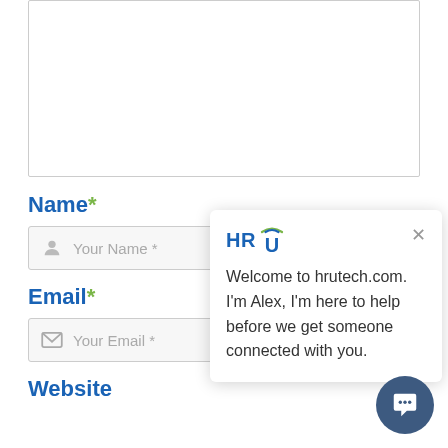[Figure (screenshot): Empty white text area box with border]
Name *
[Figure (screenshot): Name input field with person icon and placeholder 'Your Name *']
Email *
[Figure (screenshot): Email input field with envelope icon and placeholder 'Your Email *']
Website
[Figure (screenshot): Chat popup from hrutech.com with HR U logo, close button, and message: Welcome to hrutech.com. I'm Alex, I'm here to help before we get someone connected with you.]
[Figure (screenshot): Dark blue circular chat button with speech bubble icon]